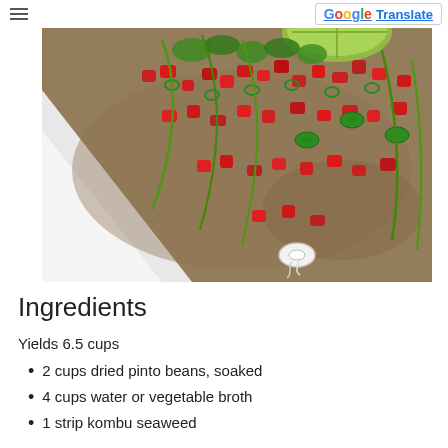≡  G Translate
[Figure (photo): A white rectangular plate with refried beans topped with diced tomatoes, sliced green onions, jalapeño slices, chopped cilantro, and lime wedges on top.]
Ingredients
Yields 6.5 cups
2 cups dried pinto beans, soaked
4 cups water or vegetable broth
1 strip kombu seaweed